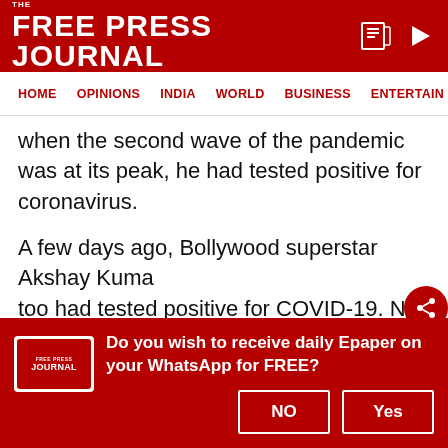THE FREE PRESS JOURNAL
HOME  OPINIONS  INDIA  WORLD  BUSINESS  ENTERTAIN
when the second wave of the pandemic was at its peak, he had tested positive for coronavirus.
A few days ago, Bollywood superstar Akshay Kumar too had tested positive for COVID-19. Not just him, but actor Karan Tacker too had contracted the virus recently.
Read Also
Did Kartik Aaryan hike his fees post 'Bhool
Do you wish to receive daily Epaper on your WhatsApp for FREE?